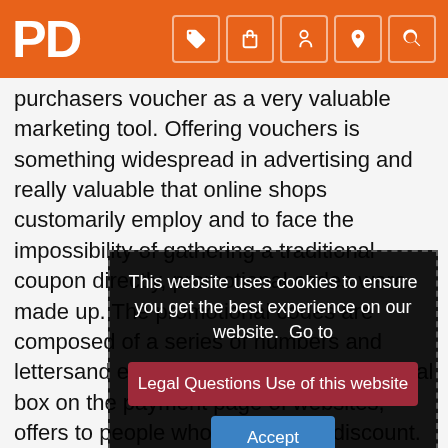PD
purchasers voucher as a very valuable marketing tool. Offering vouchers is something widespread in advertising and really valuable that online shops customarily employ and to face the impossibility of gathering a traditional coupon directly, promotional codes were made up. The promotional codes are composed of a series of numbers and lettersand entering them at the promotional box on the payment page of websites, offers to people who use them a discount. Along with this, the aim to introduce vouchers-vouchers.com was aimed to go as a website to retailers which sell online to give new visitors those promotional codes that they use in their marketing campaigns. We help that online work retailers like Aphrodite to reach new users on the Internet and increasing sales and users to save on your online orders. Do you feel fed up of waiting and waiting for seasonal sales to start again? Don't you have the
This website uses cookies to ensure you get the best experience on our website.  Go to
Legal Questions Use of this website
Accept